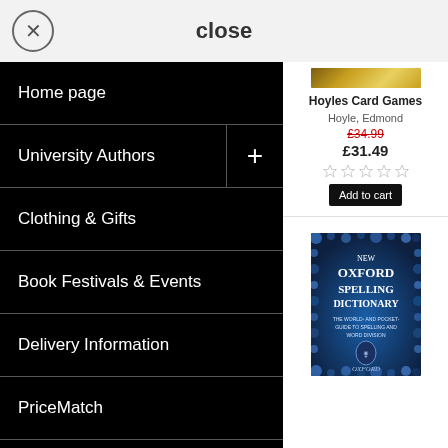close
Home page
University Authors
Clothing & Gifts
Book Festivals & Events
Delivery Information
PriceMatch
Hoyles Card Games
Hoyle, Edmond
£34.99
£31.49
Add to cart
[Figure (photo): Book cover: New Oxford Spelling Dictionary, blue cover with decorative border]